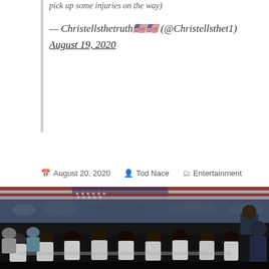pick up some injuries on the way)
— Christellsthetruth🇺🇸🇺🇸 (@Christellsthet1) August 19, 2020
August 20, 2020   Tod Nace   Entertainment
[Figure (photo): NFL players kneeling on the field during the national anthem, crowded stadium with American flag visible in background.]